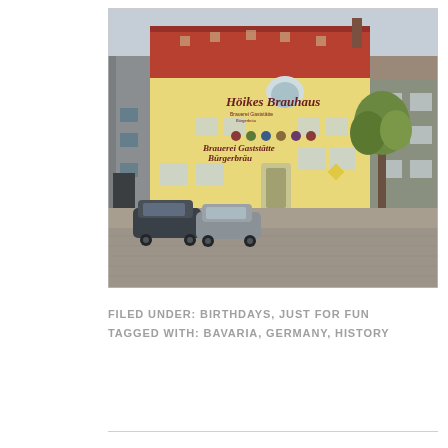[Figure (photo): Exterior photo of a traditional Bavarian Brauhaus (brewery/tavern) building with yellow painted facade, red tile roof, German Gothic script signage reading 'Höikes Brauhaus' and 'Brauerei Gaststätte Bürgerbrüu', cobblestone courtyard, parked cars on the left, a tree on the right, and adjacent buildings.]
FILED UNDER: BIRTHDAYS, JUST FOR FUN
TAGGED WITH: BAVARIA, GERMANY, HISTORY